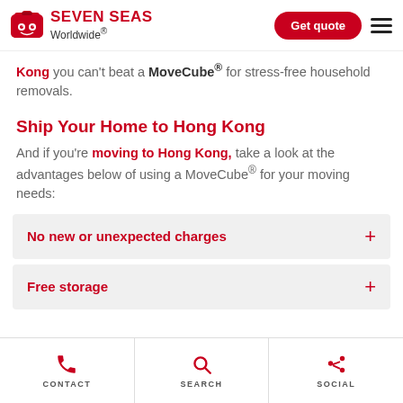Seven Seas Worldwide — Get quote
Kong you can't beat a MoveCube® for stress-free household removals.
Ship Your Home to Hong Kong
And if you're moving to Hong Kong, take a look at the advantages below of using a MoveCube® for your moving needs:
No new or unexpected charges
Free storage
CONTACT   SEARCH   SOCIAL